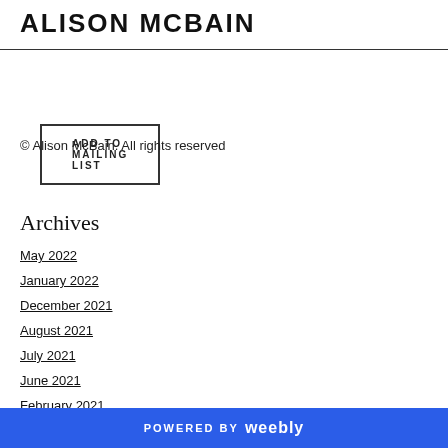ALISON MCBAIN
ADD TO MAILING LIST
© Alison McBain. All rights reserved
Archives
May 2022
January 2022
December 2021
August 2021
July 2021
June 2021
February 2021
POWERED BY weebly